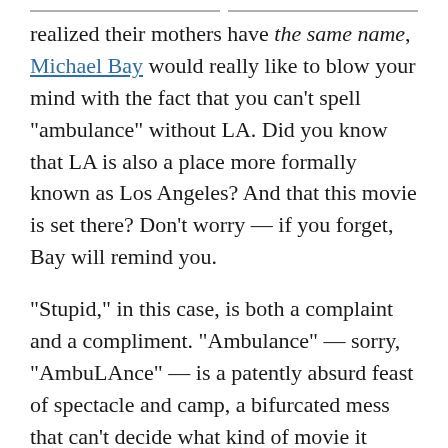realized their mothers have the same name, Michael Bay would really like to blow your mind with the fact that you can't spell "ambulance" without LA. Did you know that LA is also a place more formally known as Los Angeles? And that this movie is set there? Don't worry — if you forget, Bay will remind you.
"Stupid," in this case, is both a complaint and a compliment. "Ambulance" — sorry, "AmbuLAnce" — is a patently absurd feast of spectacle and camp, a bifurcated mess that can't decide what kind of movie it wants to be and so chooses instead to be several movies at once. None of those movies are good, exactly, but none of them are boring either, and thrown together this way, they fuse into a Frankenstein's monster of explosions and nonsense,